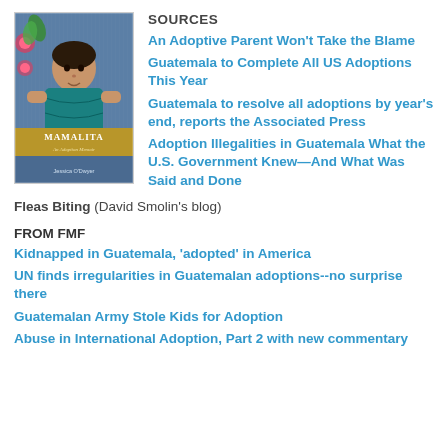[Figure (photo): Book cover of 'Mamalita: An Adoption Memoir' showing a young girl in blue dress with floral decorations on a blue background with gold banner text]
SOURCES
An Adoptive Parent Won't Take the Blame
Guatemala to Complete All US Adoptions This Year
Guatemala to resolve all adoptions by year's end, reports the Associated Press
Adoption Illegalities in Guatemala What the U.S. Government Knew—And What Was Said and Done
Fleas Biting (David Smolin's blog)
FROM FMF
Kidnapped in Guatemala, 'adopted' in America
UN finds irregularities in Guatemalan adoptions--no surprise there
Guatemalan Army Stole Kids for Adoption
Abuse in International Adoption, Part 2 with new commentary